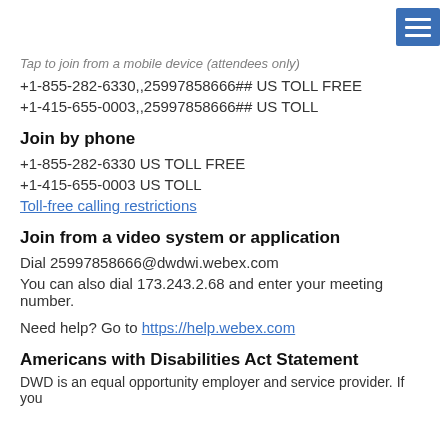Tap to join from a mobile device (attendees only)
+1-855-282-6330,,25997858666## US TOLL FREE
+1-415-655-0003,,25997858666## US TOLL
Join by phone
+1-855-282-6330 US TOLL FREE
+1-415-655-0003 US TOLL
Toll-free calling restrictions
Join from a video system or application
Dial 25997858666@dwdwi.webex.com
You can also dial 173.243.2.68 and enter your meeting number.
Need help? Go to https://help.webex.com
Americans with Disabilities Act Statement
DWD is an equal opportunity employer and service provider. If you